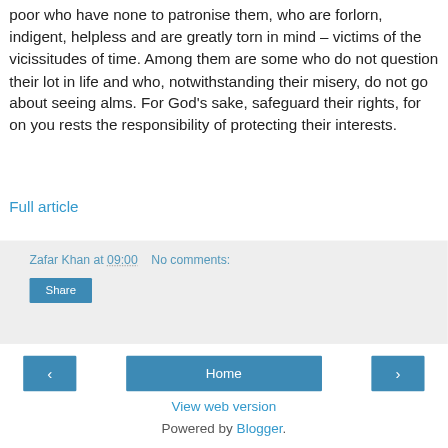poor who have none to patronise them, who are forlorn, indigent, helpless and are greatly torn in mind – victims of the vicissitudes of time. Among them are some who do not question their lot in life and who, notwithstanding their misery, do not go about seeing alms. For God's sake, safeguard their rights, for on you rests the responsibility of protecting their interests.
Full article
Zafar Khan at 09:00   No comments:
Share
Home | View web version | Powered by Blogger.